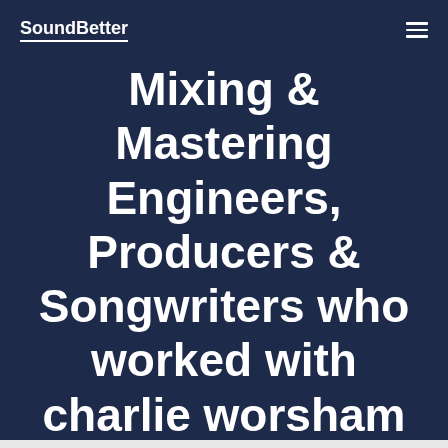SoundBetter
Mixing & Mastering Engineers, Producers & Songwriters who worked with charlie worsham